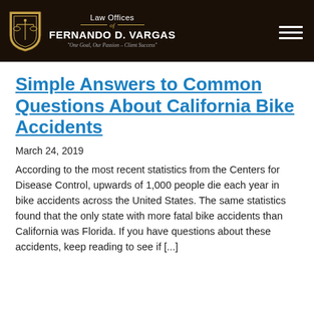Law Offices of FERNANDO D. VARGAS — "One Goal, Our Passion – Client Success"
Simple Answers to Common Questions About California Bike Accidents
March 24, 2019
According to the most recent statistics from the Centers for Disease Control, upwards of 1,000 people die each year in bike accidents across the United States. The same statistics found that the only state with more fatal bike accidents than California was Florida. If you have questions about these accidents, keep reading to see if [...]